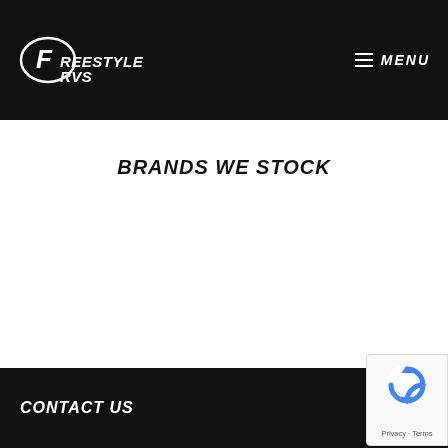FreestyleRVS MENU
BRANDS WE STOCK
CONTACT US